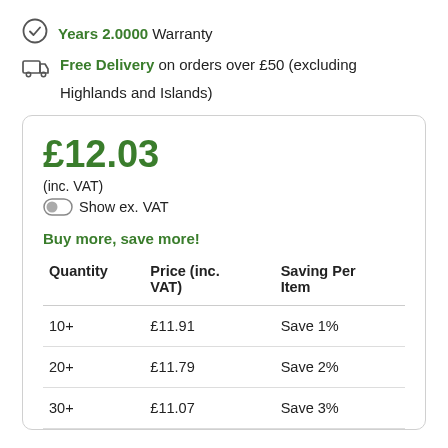Years 2.0000 Warranty
Free Delivery on orders over £50 (excluding Highlands and Islands)
£12.03 (inc. VAT) Show ex. VAT
Buy more, save more!
| Quantity | Price (inc. VAT) | Saving Per Item |
| --- | --- | --- |
| 10+ | £11.91 | Save 1% |
| 20+ | £11.79 | Save 2% |
| 30+ | £11.07 | Save 3% |